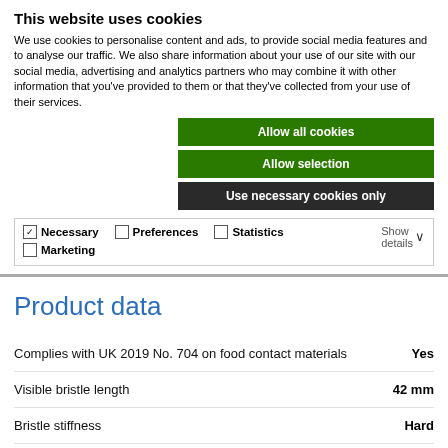This website uses cookies
We use cookies to personalise content and ads, to provide social media features and to analyse our traffic. We also share information about your use of our site with our social media, advertising and analytics partners who may combine it with other information that you've provided to them or that they've collected from your use of their services.
Allow all cookies
Allow selection
Use necessary cookies only
| ✓ Necessary | Preferences | Statistics | Show details ∨ |
| Marketing |  |  |  |
Product data
Complies with UK 2019 No. 704 on food contact materials   Yes
Visible bristle length   42 mm
Bristle stiffness   Hard